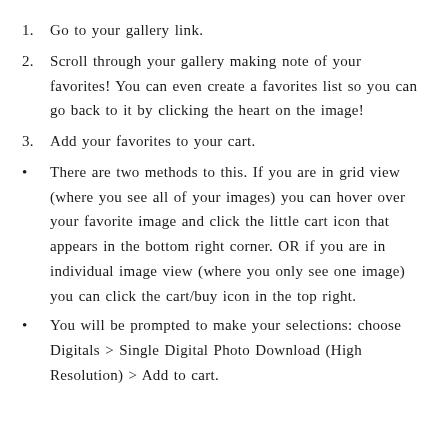1. Go to your gallery link.
2. Scroll through your gallery making note of your favorites! You can even create a favorites list so you can go back to it by clicking the heart on the image!
3. Add your favorites to your cart.
• There are two methods to this. If you are in grid view (where you see all of your images) you can hover over your favorite image and click the little cart icon that appears in the bottom right corner. OR if you are in individual image view (where you only see one image) you can click the cart/buy icon in the top right.
• You will be prompted to make your selections: choose Digitals > Single Digital Photo Download (High Resolution) > Add to cart.